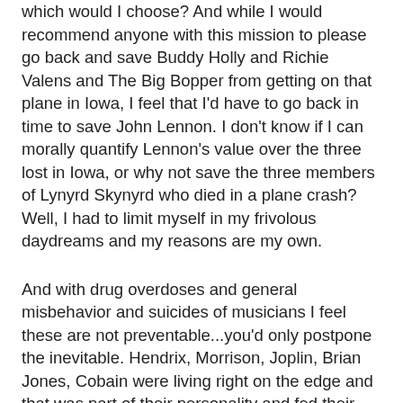which would I choose? And while I would recommend anyone with this mission to please go back and save Buddy Holly and Richie Valens and The Big Bopper from getting on that plane in Iowa, I feel that I'd have to go back in time to save John Lennon. I don't know if I can morally quantify Lennon's value over the three lost in Iowa, or why not save the three members of Lynyrd Skynyrd who died in a plane crash? Well, I had to limit myself in my frivolous daydreams and my reasons are my own.
And with drug overdoses and general misbehavior and suicides of musicians I feel these are not preventable...you'd only postpone the inevitable. Hendrix, Morrison, Joplin, Brian Jones, Cobain were living right on the edge and that was part of their personality and fed their talent. It's a price of fame that some can only tolerate it for so long before they step over the line into oblivion. If you make a woman